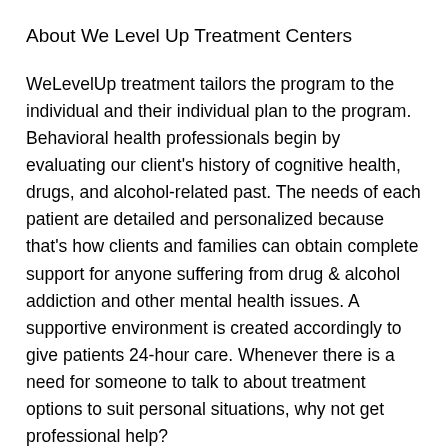About We Level Up Treatment Centers
WeLevelUp treatment tailors the program to the individual and their individual plan to the program. Behavioral health professionals begin by evaluating our client's history of cognitive health, drugs, and alcohol-related past. The needs of each patient are detailed and personalized because that's how clients and families can obtain complete support for anyone suffering from drug & alcohol addiction and other mental health issues. A supportive environment is created accordingly to give patients 24-hour care. Whenever there is a need for someone to talk to about treatment options to suit personal situations, why not get professional help?
WeLevelUp is a renowned treatment center that applies evidence-based treatment modalities along with holistic programs to improve client recovery outcomes. Combining